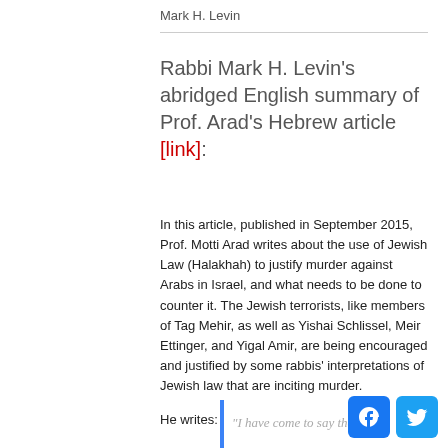Mark H. Levin
Rabbi Mark H. Levin's abridged English summary of Prof. Arad's Hebrew article [link]:
In this article, published in September 2015, Prof. Motti Arad writes about the use of Jewish Law (Halakhah) to justify murder against Arabs in Israel, and what needs to be done to counter it. The Jewish terrorists, like members of Tag Mehir, as well as Yishai Schlissel, Meir Ettinger, and Yigal Amir, are being encouraged and justified by some rabbis' interpretations of Jewish law that are inciting murder.
He writes:
“I have come to say that we